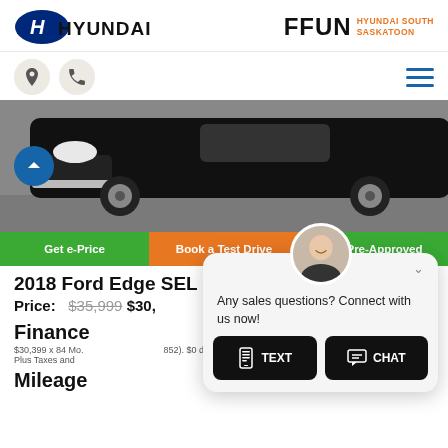[Figure (logo): Hyundai logo (blue oval with H) and FFUN Hyundai South Saskatoon logo in header]
[Figure (screenshot): Navigation icon row with location pin, phone icons (left) and hamburger menu (right)]
[Figure (photo): Black Ford Edge SUV front/side view on grey pavement, with blue scroll-up button overlay]
Get e-Price | Book a Test Drive | Get Pre-Approved
2018 Ford Edge SEL 4WD All-Wheel Drive
Price: $35,999 $30,399
Finance
$30,399 x 84 Mo. (852). $0 down payment. Plus Taxes and
Mileage
[Figure (screenshot): Chat popup with avatar photo of smiling man, message 'Any sales questions? Connect with us now!' and TEXT and CHAT buttons]